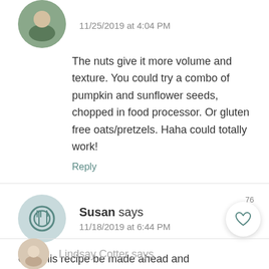[Figure (other): Partial avatar image at top of page]
11/25/2019 at 4:04 PM
The nuts give it more volume and texture. You could try a combo of pumpkin and sunflower seeds, chopped in food processor. Or gluten free oats/pretzels. Haha could totally work!
Reply
[Figure (illustration): Default user avatar with fork and plate icon on light teal background]
Susan says
11/18/2019 at 6:44 PM
Can this recipe be made ahead and frozen? Thanks
Reply
[Figure (illustration): Heart/like button in circular white card with shadow, vote count 76]
Lindsay Cotter says